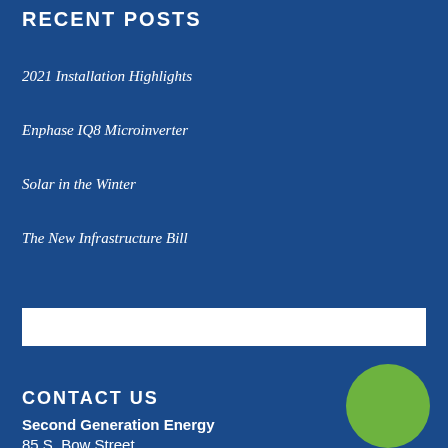RECENT POSTS
2021 Installation Highlights
Enphase IQ8 Microinverter
Solar in the Winter
The New Infrastructure Bill
[Figure (other): White search input bar]
CONTACT US
Second Generation Energy
85 S. Bow Street
[Figure (illustration): Green circle logo element in bottom right corner]